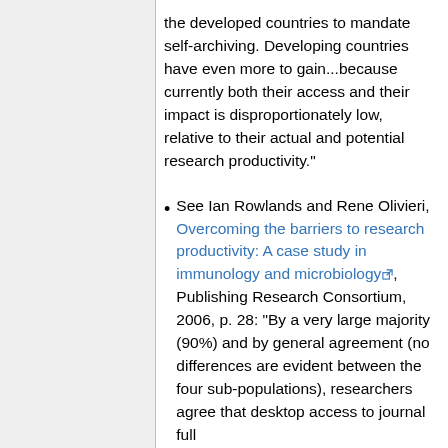developing countries to wait for the developed countries to mandate self-archiving. Developing countries have even more to gain...because currently both their access and their impact is disproportionately low, relative to their actual and potential research productivity."
See Ian Rowlands and Rene Olivieri, Overcoming the barriers to research productivity: A case study in immunology and microbiology, Publishing Research Consortium, 2006, p. 28: "By a very large majority (90%) and by general agreement (no differences are evident between the four sub-populations), researchers agree that desktop access to journal full